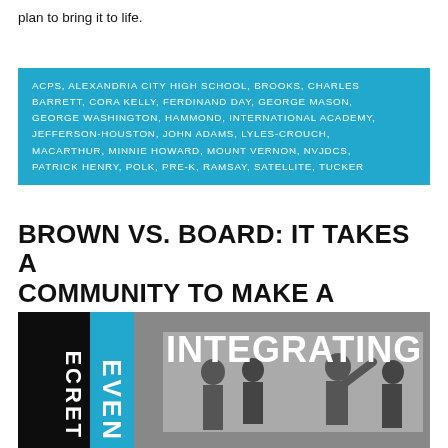plan to bring it to life.
ACPS, ALEXANDRIA CITY HIGH SCHOOL, BROOKS, CHARLES BARRETT, CORA KELLY, FERDINAND DAY, GEORGE MASON, GEORGE WASHINGTON, HAMMOND, INTERNATIONAL ACADEMY, JEFFERSON-HOUSTON, JOHN ADAMS, LYLES-CROUCH, MACARTHUR, MINNIE HOWARD, MOUNT VERNON, NVJDCS, PATRICK HENRY, POLK, PRE-K, RAMSAY, SATELLITE, TUCKER
BROWN VS. BOARD: IT TAKES A COMMUNITY TO MAKE A DIFFERENCE
[Figure (photo): Black and white photo of children in a school hallway or classroom setting, with overlaid text reading 'INTEGRATING' in bold white letters and partial words 'SECRET', 'EVEN' in teal/blue on a dark background.]